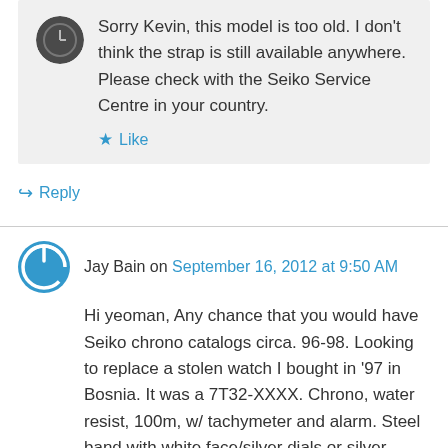Sorry Kevin, this model is too old. I don't think the strap is still available anywhere. Please check with the Seiko Service Centre in your country.
Like
Reply
Jay Bain on September 16, 2012 at 9:50 AM
Hi yeoman, Any chance that you would have Seiko chrono catalogs circa. 96-98. Looking to replace a stolen watch I bought in '97 in Bosnia. It was a 7T32-XXXX. Chrono, water resist, 100m, w/ tachymeter and alarm. Steel band with white face/silver dials or silver face/white dials